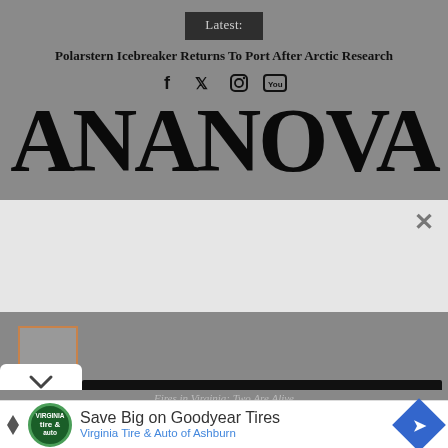Latest:
Polarstern Icebreaker Returns To Port After Arctic Research
[Figure (logo): Social media icons: Facebook, Twitter, Instagram, YouTube]
ANANOVA
[Figure (screenshot): Light gray overlay/ad dismissal area with close (×) button]
[Figure (screenshot): Thumbnail box with orange border, collapse chevron button, and video progress bar on dark gray background]
Fires in Virginia: Two Are Alive
[Figure (screenshot): Advertisement: Virginia Tire & Auto logo, Save Big on Goodyear Tires, Virginia Tire & Auto of Ashburn, with blue diamond navigation icon]